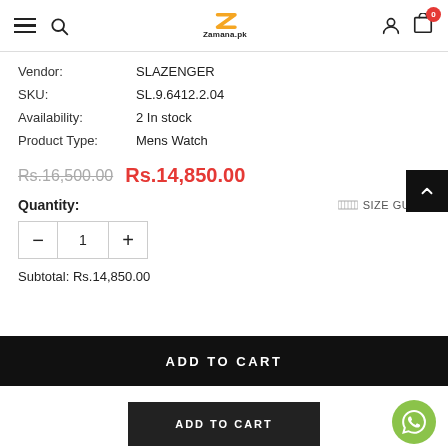Zamana.pk header with hamburger menu, search, logo, account, and cart icons
Vendor: SLAZENGER
SKU: SL.9.6412.2.04
Availability: 2 In stock
Product Type: Mens Watch
Rs.16,500.00  Rs.14,850.00
Quantity:
SIZE GUIDE
Subtotal: Rs.14,850.00
ADD TO CART
ADD TO CART